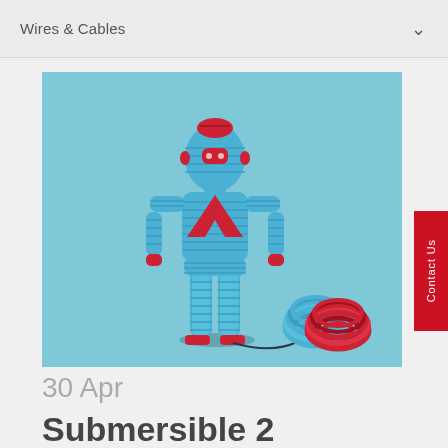Wires & Cables
[Figure (illustration): 3D illustration of a humanoid figure made entirely of blue and red coiled wires/cables, standing on a light blue background, with two coils of cable (one blue, one red) beside its feet, connected by a wire.]
30 Apr
Submersible 2